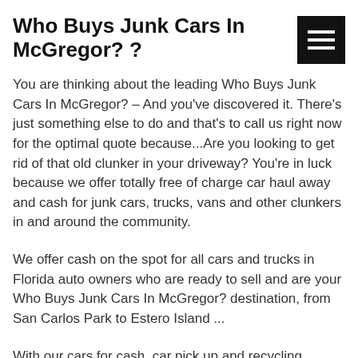Who Buys Junk Cars In McGregor? ?
You are thinking about the leading Who Buys Junk Cars In McGregor? – And you've discovered it. There's just something else to do and that's to call us right now for the optimal quote because...Are you looking to get rid of that old clunker in your driveway? You're in luck because we offer totally free of charge car haul away and cash for junk cars, trucks, vans and other clunkers in and around the community.
We offer cash on the spot for all cars and trucks in Florida auto owners who are ready to sell and are your Who Buys Junk Cars In McGregor? destination, from San Carlos Park to Estero Island ...
With our cars for cash, car pick up and recycling program, you can swap your wrecked car for cash! Even if it doesn't run, we will offer you cash for junk cars in McGregor. We're based in McGregor and we pay cash for cars in whatever state. Get the most money for all cars that have been damaged in accidents – any condition, running or not. To call us for a quote with free  tow away, press Ok...